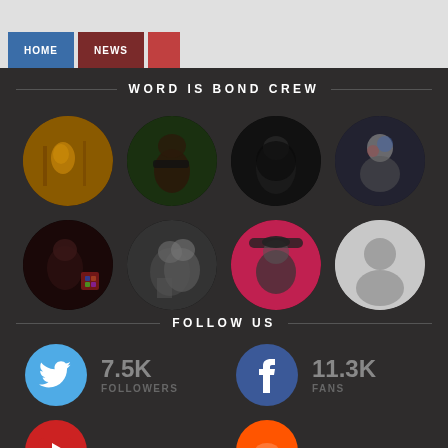[Figure (screenshot): Top navigation bar with blue and red tab buttons on light grey background]
WORD IS BOND CREW
[Figure (photo): Grid of 8 circular crew member profile photos, 4 per row, on dark background]
FOLLOW US
[Figure (infographic): Twitter icon with 7.5K FOLLOWERS and Facebook icon with 11.3K FANS]
[Figure (infographic): YouTube and SoundCloud icons partially visible at bottom]